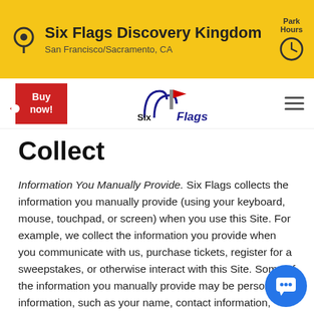Six Flags Discovery Kingdom
San Francisco/Sacramento, CA
[Figure (logo): Six Flags Discovery Kingdom logo]
Collect
Information You Manually Provide. Six Flags collects the information you manually provide (using your keyboard, mouse, touchpad, or screen) when you use this Site. For example, we collect the information you provide when you communicate with us, purchase tickets, register for a sweepstakes, or otherwise interact with this Site. Some of the information you manually provide may be personal information, such as your name, contact information, photographs, comments, or other content you submit to our Site.